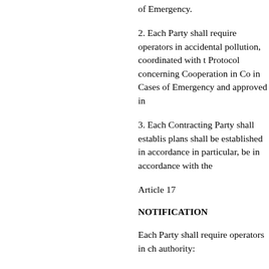of Emergency.
2. Each Party shall require operators in accidental pollution, coordinated with the Protocol concerning Cooperation in Co in Cases of Emergency and approved in
3. Each Contracting Party shall establish plans shall be established in accordance in particular, be in accordance with the
Article 17
NOTIFICATION
Each Party shall require operators in ch authority:
(a) Any event on their installation caus
(b) Any observed event at sea causing o